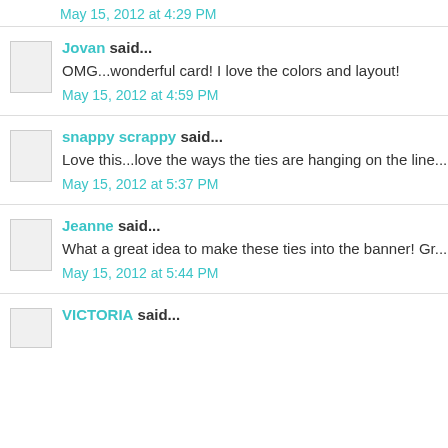May 15, 2012 at 4:29 PM
Jovan said...
OMG...wonderful card! I love the colors and layout!
May 15, 2012 at 4:59 PM
snappy scrappy said...
Love this...love the ways the ties are hanging on the line...
May 15, 2012 at 5:37 PM
Jeanne said...
What a great idea to make these ties into the banner! Gr...
May 15, 2012 at 5:44 PM
VICTORIA said...